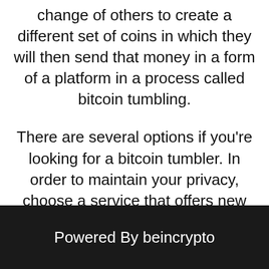change of others to create a different set of coins in which they will then send that money in a form of a platform in a process called bitcoin tumbling.
There are several options if you're looking for a bitcoin tumbler. In order to maintain your privacy, choose a service that offers new coins and confusing tracking solutions at a small fee, such as Bitcoin Unmixer. For the best results,
Powered By beincrypto